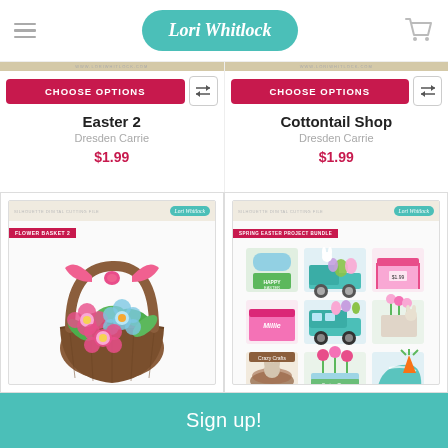Lori Whitlock
[Figure (screenshot): Tan product image strip top of left product]
[Figure (screenshot): Tan product image strip top of right product]
CHOOSE OPTIONS
CHOOSE OPTIONS
Easter 2
Dresden Carrie
$1.99
Cottontail Shop
Dresden Carrie
$1.99
[Figure (illustration): Flower basket with pink bow and colorful flowers inside, FLOWER BASKET 2 label, Lori Whitlock badge]
[Figure (illustration): Spring Easter project bundle with multiple 3D paper craft items including truck, bunny, bus, plants, and decorations, SPRING EASTER PROJECT BUNDLE label, Lori Whitlock badge]
Sign up!